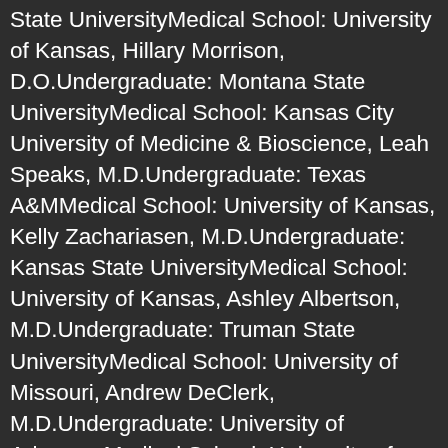State UniversityMedical School: University of Kansas, Hillary Morrison, D.O.Undergraduate: Montana State UniversityMedical School: Kansas City University of Medicine & Bioscience, Leah Speaks, M.D.Undergraduate: Texas A&MMedical School: University of Kansas, Kelly Zachariasen, M.D.Undergraduate: Kansas State UniversityMedical School: University of Kansas, Ashley Albertson, M.D.Undergraduate: Truman State UniversityMedical School: University of Missouri, Andrew DeClerk, M.D.Undergraduate: University of ArkansasMedical School: University of Arkansas, Katherine Foerster, M.D.Undergraduate: Saint Louis UniversityMedical School: Saint Louis University, Holley Fonner, M.D.Undergraduate: N...